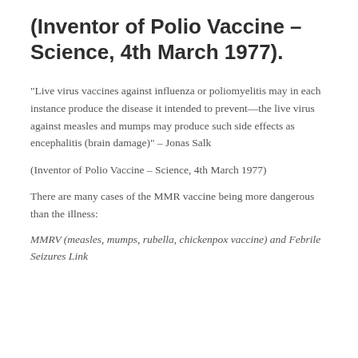(Inventor of Polio Vaccine – Science, 4th March 1977).
“Live virus vaccines against influenza or poliomyelitis may in each instance produce the disease it intended to prevent—the live virus against measles and mumps may produce such side effects as encephalitis (brain damage)” – Jonas Salk
(Inventor of Polio Vaccine – Science, 4th March 1977)
There are many cases of the MMR vaccine being more dangerous than the illness:
MMRV (measles, mumps, rubella, chickenpox vaccine) and Febrile Seizures Link